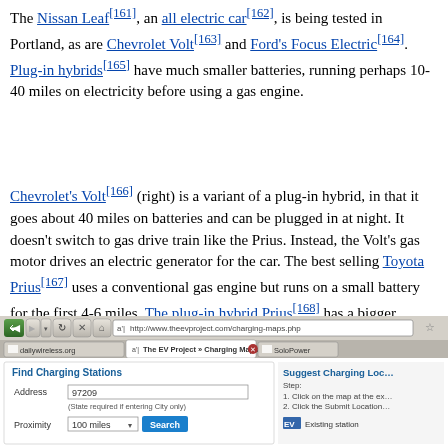The Nissan Leaf[161], an all electric car[162], is being tested in Portland, as are Chevrolet Volt[163] and Ford's Focus Electric[164]. Plug-in hybrids[165] have much smaller batteries, running perhaps 10-40 miles on electricity before using a gas engine.
Chevrolet's Volt[166] (right) is a variant of a plug-in hybrid, in that it goes about 40 miles on batteries and can be plugged in at night. It doesn't switch to gas drive train like the Prius. Instead, the Volt's gas motor drives an electric generator for the car. The best selling Toyota Prius[167] uses a conventional gas engine but runs on a small battery for the first 4-6 miles. The plug-in hybrid Prius[168] has a bigger battery with a 12 mile range. Batteries can be recharged by plugging them in. That's cheaper than using the car's gas-powered generator to charge them up. Zip Car in Oregon is now offering two plug-in Prius cars for $7/hr.
[Figure (screenshot): Screenshot of The EV Project charging maps website (theevproject.com/charging-maps.php) showing browser chrome with tabs for dailywireless.org, The EV Project Charging Maps, and SoloPower. The page shows a Find Charging Stations form with Address field (97209), proximity selector (100 miles), and Search button. Right panel shows Suggest Charging Location with steps and existing station icon.]